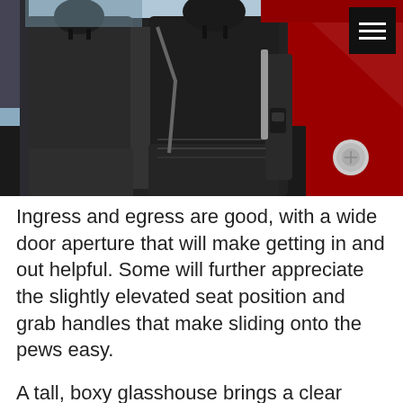[Figure (photo): Interior view of a red car showing black rear seats with stitching detail, viewed through an open rear door. A headrest and seatbelt are visible. The car exterior is red and shiny. A hamburger menu icon is in the top-right corner on a black background.]
Ingress and egress are good, with a wide door aperture that will make getting in and out helpful. Some will further appreciate the slightly elevated seat position and grab handles that make sliding onto the pews easy.
A tall, boxy glasshouse brings a clear view all-round that some funky-styled compacts miss out on due to